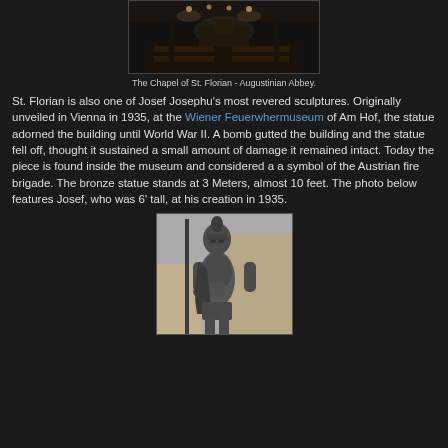[Figure (photo): Interior of the Chapel of St. Florian - Augustinian Abbey, dark interior with pews and lights visible]
The Chapel of St. Florian - Augustinian Abbey.
St. Florian is also one of Josef Josephu's most revered sculptures. Originally unveiled in Vienna in 1935, at the Wiener Feuerwhermuseum of Am Hof, the statue adorned the building until World War II. A bomb gutted the building and the statue fell off, thought it sustained a small amount of damage it remained intact. Today the piece is found inside the museum and considered a a symbol of the Austrian fire brigade. The bronze statue stands at 3 Meters, almost 10 feet. The photo below features Josef, who was 6' tall, at his creation in 1935.
[Figure (photo): Black and white photograph of a bronze statue of St. Florian in Roman armor holding a spear, photographed against a building exterior]